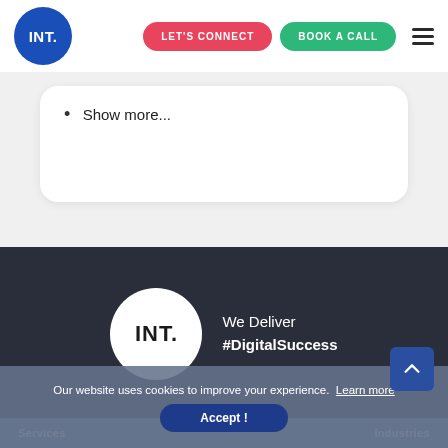[Figure (logo): INT. logo in blue circle with white text, navigation header with LET'S CONNECT and BOOK A CALL buttons and hamburger menu]
Show more...
[Figure (logo): INT. logo in white circle with tagline 'We Deliver #DigitalSuccess' on dark background]
Our website uses cookies to improve your experience. Learn more
Accept !
Services    Industries